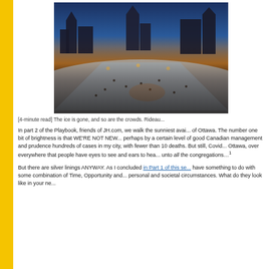[Figure (photo): Aerial/elevated view of Ottawa's Rideau Canal skating rink area in winter at dusk, with Parliament Hill buildings visible in the background, crowds of people on the snowy ice, street lights glowing, blue-orange twilight sky.]
[4-minute read] The ice is gone, and so are the crowds. Rideau...
In part 2 of the Playbook, friends of JH.com, we walk the sunniest avai... of Ottawa. The number one bit of brightness is that WE'RE NOT NEW... perhaps by a certain level of good Canadian management and pruden... hundreds of cases in my city, with fewer than 10 deaths. But still, Covid... Ottawa, over everywhere that people have eyes to see and ears to hea... unto all the congregations…¹
But there are silver linings ANYWAY. As I concluded in Part 1 of this se... have something to do with some combination of Time, Opportunity and... personal and societal circumstances. What do they look like in your ne...